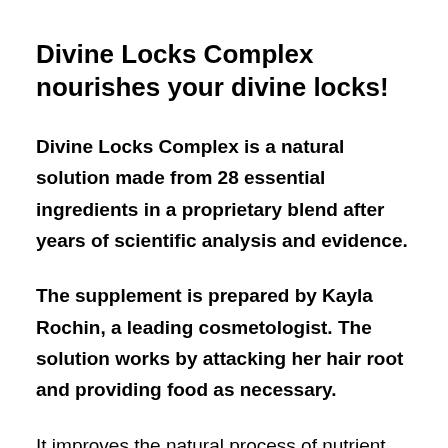Divine Locks Complex nourishes your divine locks!
Divine Locks Complex is a natural solution made from 28 essential ingredients in a proprietary blend after years of scientific analysis and evidence.
The supplement is prepared by Kayla Rochin, a leading cosmetologist. The solution works by attacking her hair root and providing food as necessary.
It improves the natural process of nutrient absorption